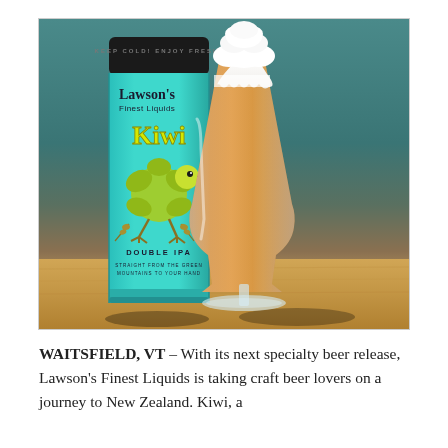[Figure (photo): Photo of a turquoise Lawson's Finest Liquids Kiwi Double IPA tall can next to a tulip pint glass filled with hazy amber beer and a white foam head, both sitting on a wooden surface with a dark teal background.]
WAITSFIELD, VT – With its next specialty beer release, Lawson's Finest Liquids is taking craft beer lovers on a journey to New Zealand. Kiwi, a